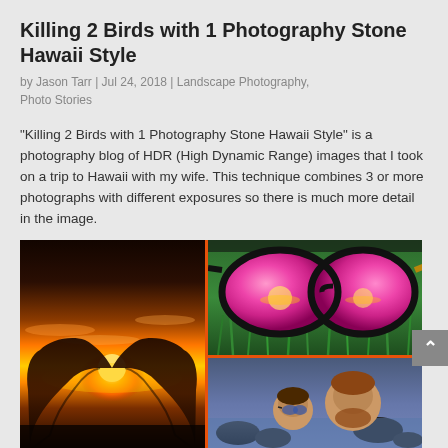Killing 2 Birds with 1 Photography Stone Hawaii Style
by Jason Tarr | Jul 24, 2018 | Landscape Photography, Photo Stories
“Killing 2 Birds with 1 Photography Stone Hawaii Style” is a photography blog of HDR (High Dynamic Range) images that I took on a trip to Hawaii with my wife. This technique combines 3 or more photographs with different exposures so there is much more detail in the image.
[Figure (photo): Photo collage with three images: left panel shows hands forming a heart shape against a Hawaii sunset sky; top-right panel shows sunglasses with a pink-tinted reflection of a sunset over green grass; bottom-right panel shows a couple at a rocky beach.]